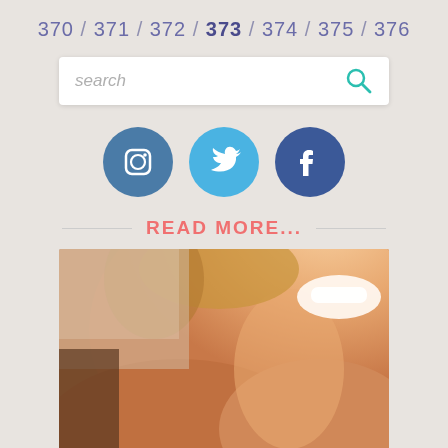370 / 371 / 372 / 373 / 374 / 375 / 376
[Figure (screenshot): Search bar with placeholder text 'search' and teal magnifying glass icon]
[Figure (infographic): Three social media icons: Instagram (dark blue circle), Twitter (light blue circle), Facebook (dark blue circle)]
READ MORE...
[Figure (photo): Close-up photo of a smiling woman with tanned skin, showing her neck and shoulder, white teeth visible, blonde hair]